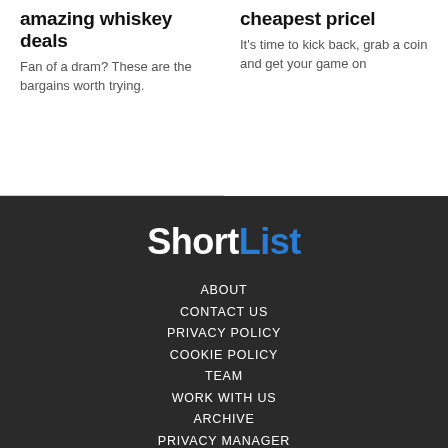amazing whiskey deals
Fan of a dram? These are the bargains worth trying.
cheapest pricel
It's time to kick back, grab a coin and get your game on
[Figure (logo): ShortList logo in white and blue]
ABOUT
CONTACT US
PRIVACY POLICY
COOKIE POLICY
TEAM
WORK WITH US
ARCHIVE
PRIVACY MANAGER